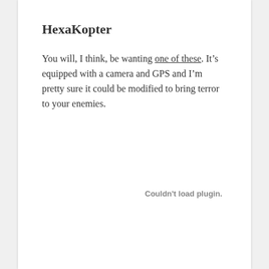HexaKopter
You will, I think, be wanting one of these. It’s equipped with a camera and GPS and I’m pretty sure it could be modified to bring terror to your enemies.
Couldn't load plugin.